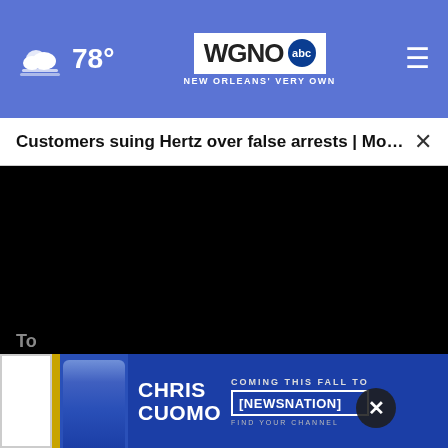78° WGNO abc NEW ORLEANS' VERY OWN
Customers suing Hertz over false arrests | Morning... ×
[Figure (screenshot): Black video player area]
Quarter
January ...
To
[Figure (infographic): Chris Cuomo Coming This Fall To NewsNation advertisement banner]